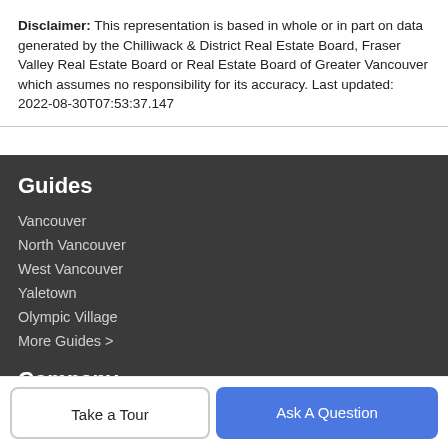Disclaimer: This representation is based in whole or in part on data generated by the Chilliwack & District Real Estate Board, Fraser Valley Real Estate Board or Real Estate Board of Greater Vancouver which assumes no responsibility for its accuracy. Last updated: 2022-08-30T07:53:37.147
Guides
Vancouver
North Vancouver
West Vancouver
Yaletown
Olympic Village
More Guides >
Company